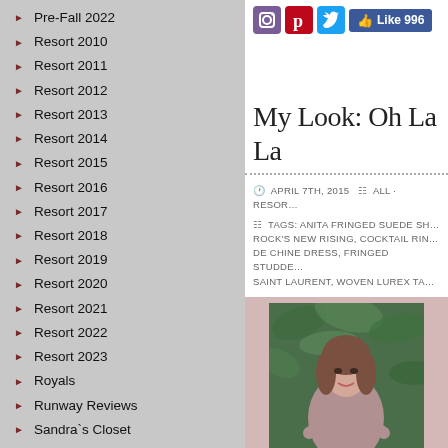Pre-Fall 2022
Resort 2010
Resort 2011
Resort 2012
Resort 2013
Resort 2014
Resort 2015
Resort 2016
Resort 2017
Resort 2018
Resort 2019
Resort 2020
Resort 2021
Resort 2022
Resort 2023
Royals
Runway Reviews
Sandra`s Closet
Shoes
Shop the Closet
Shops
Skirts
[Figure (screenshot): Social media icons: Instagram, Pinterest, Twitter, and Facebook Like button showing 996 likes]
My Look: Oh La La
APRIL 7TH, 2015  ALL · RESOR...
TAGS: ANITA FRINGED SUEDE SH... ROCK'S NEW RISING, COCKTAIL RIN... DE CHINE DRESS, FRINGED STUDDE... SAINT LAURENT, WOVEN LUREX TA...
[Figure (photo): Woman with brown hair in a mauve/dusty pink top, posing in front of green foliage, arms crossed, smiling]